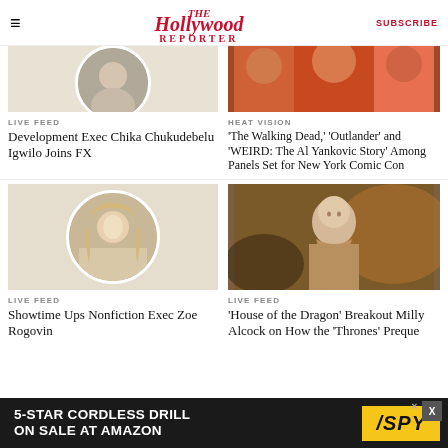The Hollywood Reporter | SUBSCRIBE
[Figure (photo): Partial headshot of a person, cropped from top, circular frame on beige background]
LIVE FEED
Development Exec Chika Chukudebelu Igwilo Joins FX
[Figure (photo): Colorful group photo, cropped from top]
HEAT VISION
'The Walking Dead,' 'Outlander' and 'WEIRD: The Al Yankovic Story' Among Panels Set for New York Comic Con
[Figure (photo): Blonde woman smiling in circular frame on beige background]
LIVE FEED
Showtime Ups Nonfiction Exec Zoe Rogovin
[Figure (photo): Bald young woman in medieval costume from House of the Dragon]
LIVE FEED
'House of the Dragon' Breakout Milly Alcock on How the 'Thrones' Preque
[Figure (infographic): Advertisement: 5-STAR CORDLESS DRILL ON SALE AT AMAZON — SPY logo]